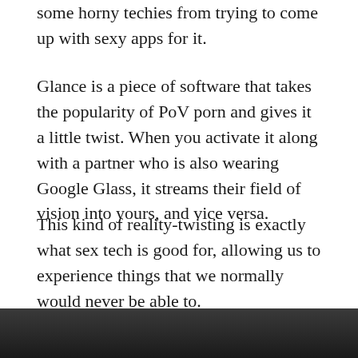some horny techies from trying to come up with sexy apps for it.
Glance is a piece of software that takes the popularity of PoV porn and gives it a little twist. When you activate it along with a partner who is also wearing Google Glass, it streams their field of vision into yours, and vice versa.
This kind of reality-twisting is exactly what sex tech is good for, allowing us to experience things that we normally would never be able to.
FriXion
[Figure (photo): Dark photo strip at the bottom of the page]